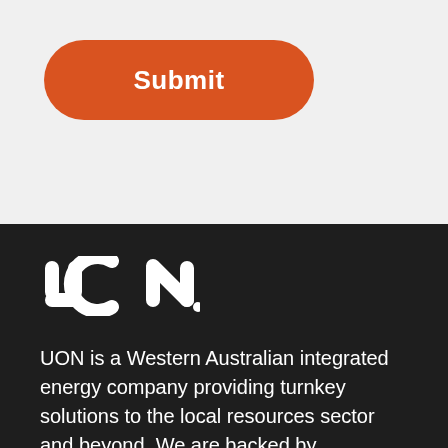[Figure (other): Orange submit button with rounded corners and white bold text reading 'Submit']
[Figure (logo): UON company logo in white on dark background]
UON is a Western Australian integrated energy company providing turnkey solutions to the local resources sector and beyond. We are backed by